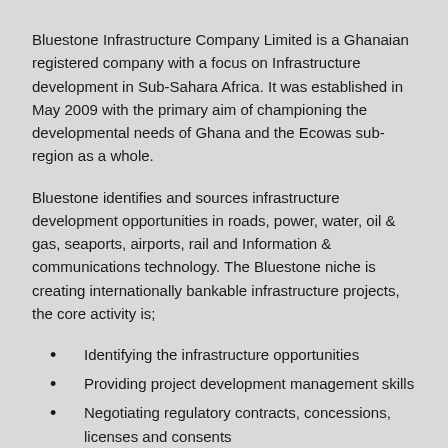Bluestone Infrastructure Company Limited is a Ghanaian registered company with a focus on Infrastructure development in Sub-Sahara Africa. It was established in May 2009 with the primary aim of championing the developmental needs of Ghana and the Ecowas sub- region as a whole.
Bluestone identifies and sources infrastructure development opportunities in roads, power, water, oil & gas, seaports, airports, rail and Information & communications technology. The Bluestone niche is creating internationally bankable infrastructure projects, the core activity is;
Identifying the infrastructure opportunities
Providing project development management skills
Negotiating regulatory contracts, concessions, licenses and consents
Sourcing sophisticated partners to take the early stage risk
Sourcing equity investors
Raising the loan capital to fund project implementation